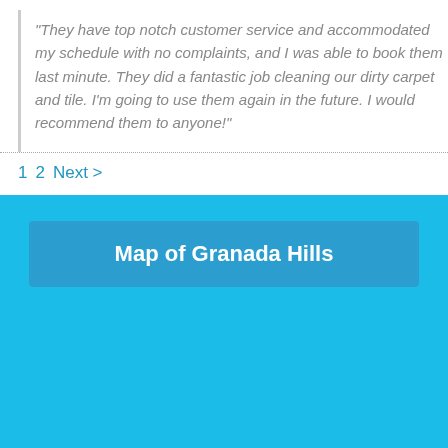"They have top notch customer service and accommodated my schedule with no complaints, and I was able to book them last minute. They did a fantastic job cleaning our dirty carpet and tile. I'm going to use them again in the future. I would recommend them to anyone!"
1  2  Next >
Map of Granada Hills